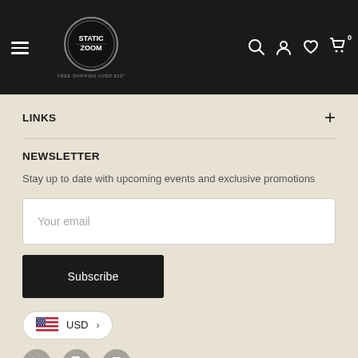FREE SHIPPING OVER $10!
LINKS
NEWSLETTER
Stay up to date with upcoming events and exclusive promotions
Your email
Subscribe
USD